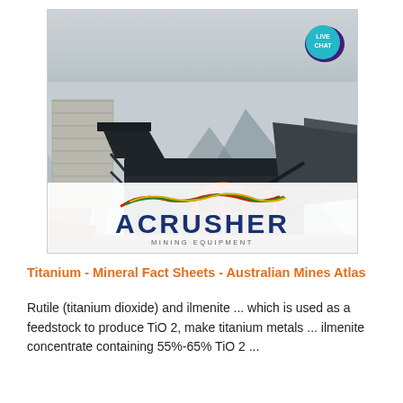[Figure (photo): Photo of a large industrial jaw crusher/mining machine installed at a quarry site with concrete structures and mountain backdrop. The Acrusher Mining Equipment company logo with colorful wave graphic appears overlaid at the bottom of the image.]
Titanium - Mineral Fact Sheets - Australian Mines Atlas
Rutile (titanium dioxide) and ilmenite ... which is used as a feedstock to produce TiO 2, make titanium metals ... ilmenite concentrate containing 55%-65% TiO 2 ...